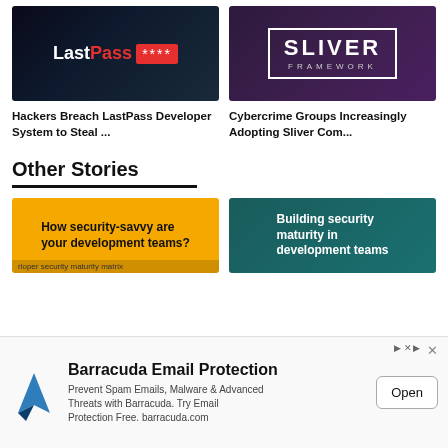[Figure (screenshot): LastPass logo on dark background with asterisks in red box]
Hackers Breach LastPass Developer System to Steal ...
[Figure (screenshot): Sliver Framework logo on purple background]
Cybercrime Groups Increasingly Adopting Sliver Com...
Other Stories
[Figure (screenshot): Yellow card: How security-savvy are your development teams? developer security maturity matrix]
[Figure (screenshot): Teal card: Building security maturity in development teams]
[Figure (other): Barracuda Email Protection advertisement banner with logo, description and Open button]